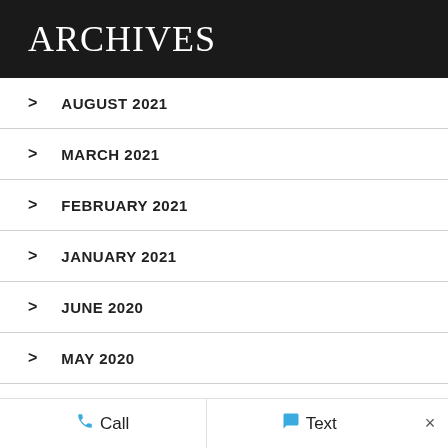ARCHIVES
AUGUST 2021
MARCH 2021
FEBRUARY 2021
JANUARY 2021
JUNE 2020
MAY 2020
Call   Text   ×